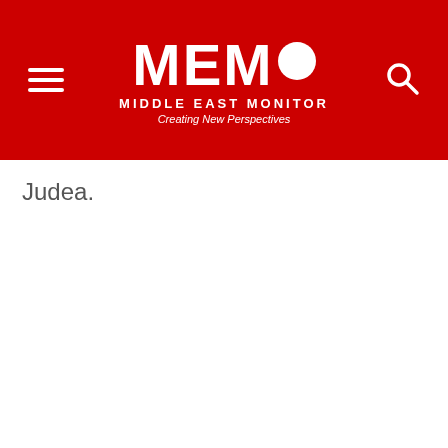MEMO MIDDLE EAST MONITOR — Creating New Perspectives
Judea.